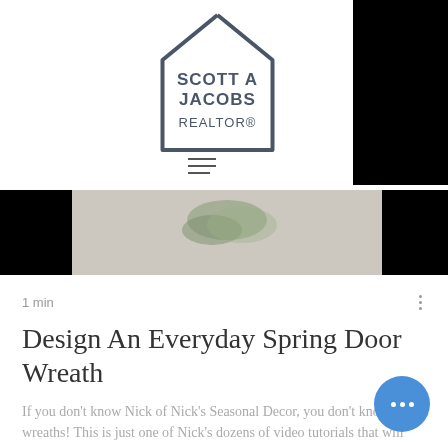[Figure (logo): Scott A Jacobs Realtor logo inside a house-shaped outline]
[Figure (photo): Partial image of a spring door wreath on a grey background, flanked by black bars on each side]
1 min
Design An Everyday Spring Door Wreath
If you don't know Nick of Nick's Seasonal Decor, you don't know wreaths! This is just one of Nick's dozens of video tutorials that will
2